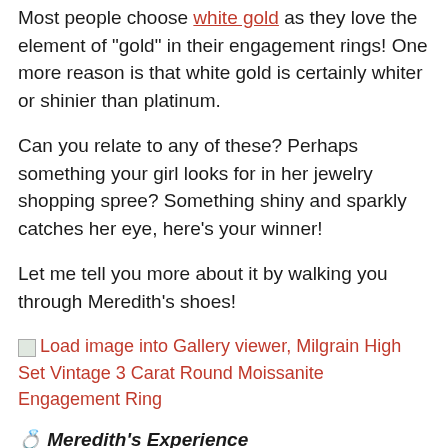Most people choose white gold as they love the element of “gold” in their engagement rings! One more reason is that white gold is certainly whiter or shinier than platinum.
Can you relate to any of these? Perhaps something your girl looks for in her jewelry shopping spree? Something shiny and sparkly catches her eye, here’s your winner!
Let me tell you more about it by walking you through Meredith’s shoes!
[Figure (other): Broken image icon followed by link text: Load image into Gallery viewer, Milgrain High Set Vintage 3 Carat Round Moissanite Engagement Ring]
💍 Meredith's Experience
Meredith is definitely the perfect example of a bold insta baddie! She is a super chic woman and likes to wear black leather jackets along with silver jewelry.